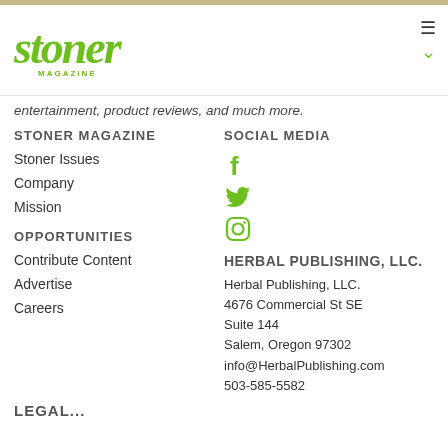[Figure (logo): Stoner Magazine green logo with italic script text and MAGAZINE subtitle]
entertainment, product reviews, and much more.
STONER MAGAZINE
Stoner Issues
Company
Mission
SOCIAL MEDIA
[Figure (other): Facebook, Twitter, and Instagram social media icons in green]
OPPORTUNITIES
Contribute Content
Advertise
Careers
HERBAL PUBLISHING, LLC.
Herbal Publishing, LLC.
4676 Commercial St SE
Suite 144
Salem, Oregon 97302
info@HerbalPublishing.com
503-585-5582
LEGALE...